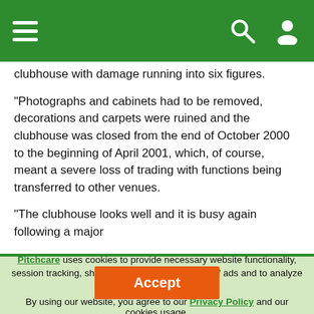Pitchcare website header with hamburger menu, search icon, and user icon
clubhouse with damage running into six figures.
"Photographs and cabinets had to be removed, decorations and carpets were ruined and the clubhouse was closed from the end of October 2000 to the beginning of April 2001, which, of course, meant a severe loss of trading with functions being transferred to other venues.
"The clubhouse looks well and it is busy again following a major
Pitchcare uses cookies to provide necessary website functionality, session tracking, shop tracking, personalisation of ads and to analyze our traffic - Learn more. By using our website, you agree to our Privacy Policy and our cookies usage.
Accept